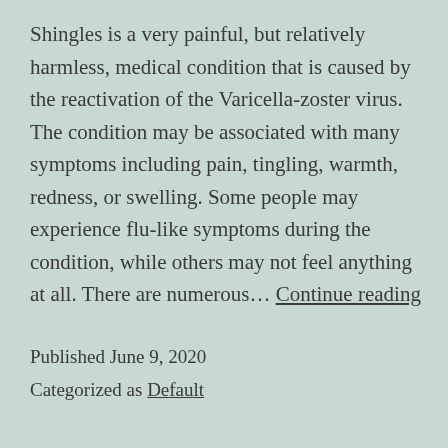Shingles is a very painful, but relatively harmless, medical condition that is caused by the reactivation of the Varicella-zoster virus. The condition may be associated with many symptoms including pain, tingling, warmth, redness, or swelling. Some people may experience flu-like symptoms during the condition, while others may not feel anything at all. There are numerous… Continue reading
Published June 9, 2020
Categorized as Default